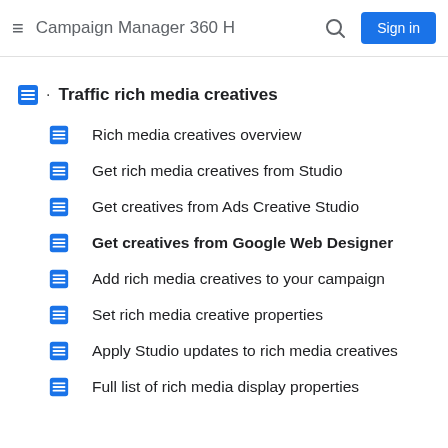Campaign Manager 360 H  Sign in
Traffic rich media creatives
Rich media creatives overview
Get rich media creatives from Studio
Get creatives from Ads Creative Studio
Get creatives from Google Web Designer
Add rich media creatives to your campaign
Set rich media creative properties
Apply Studio updates to rich media creatives
Full list of rich media display properties